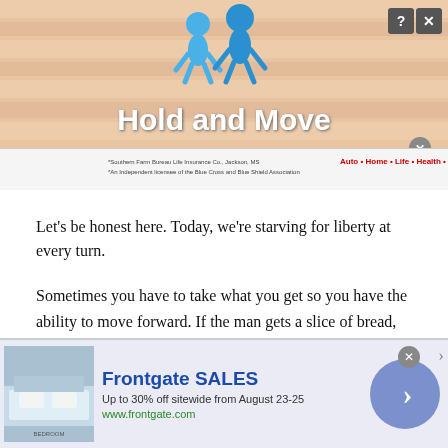[Figure (screenshot): Top banner advertisement showing 'Hold and Move' with blue cartoon figures, striped background, close and help buttons, and a small insurance sub-banner at the bottom with 'Auto • Home • Life • Health • Bank' links.]
Let's be honest here. Today, we're starving for liberty at every turn.
Sometimes you have to take what you get so you have the ability to move forward. If the man gets a slice of bread, he'll have the energy to go for that loaf.
The same principle applies to legislative activism. Small steps forward often lead to more steps forward.
[Figure (screenshot): Bottom banner advertisement for Frontgate SALES — 'Up to 30% off sitewide from August 23-25', www.frontgate.com, with a bedroom image on the left and a blue circle arrow button on the right. Has a close X button.]